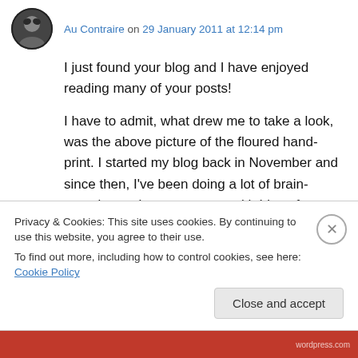Au Contraire on 29 January 2011 at 12:14 pm
I just found your blog and I have enjoyed reading many of your posts!
I have to admit, what drew me to take a look, was the above picture of the floured hand-print. I started my blog back in November and since then, I've been doing a lot of brain-storming, trying to come up with ideas for photos that would well represent the essence of my blog.
Privacy & Cookies: This site uses cookies. By continuing to use this website, you agree to their use.
To find out more, including how to control cookies, see here: Cookie Policy